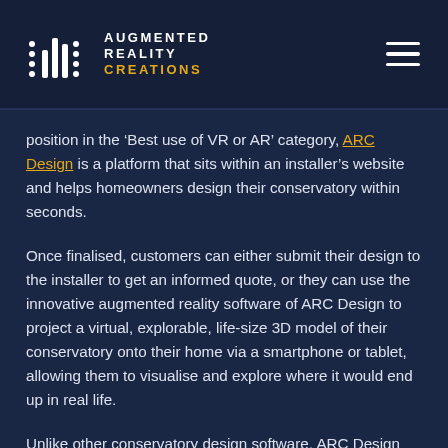AUGMENTED REALITY CREATIONS
position in the ‘Best use of VR or AR’ category, ARC Design is a platform that sits within an installer’s website and helps homeowners design their conservatory within seconds.
Once finalised, customers can either submit their design to the installer to get an informed quote, or they can use the innovative augmented reality software of ARC Design to project a virtual, explorable, life-size 3D model of their conservatory onto their home via a smartphone or tablet, allowing them to visualise and explore where it would end up in real life.
Unlike other conservatory design software, ARC Design